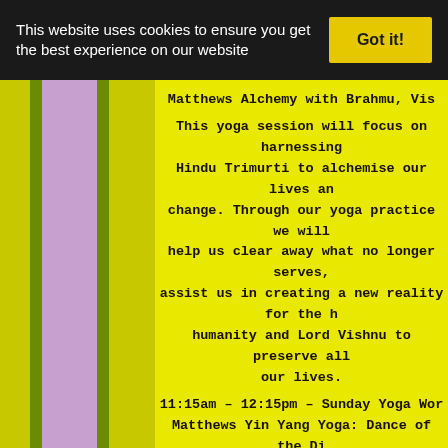This website uses cookies to ensure you get the best experience on our website
Got it!
Matthews Alchemy with Brahmu, Vish... This yoga session will focus on harnessing Hindu Trimurti to alchemise our lives and change. Through our yoga practice we will help us clear away what no longer serves, assist us in creating a new reality for the humanity and Lord Vishnu to preserve all our lives.
11:15am – 12:15pm – Sunday Yoga Work Matthews Yin Yang Yoga: Dance of the Div Feminine. This session will explore the harmonisat masculine and divine feminine energies wh of us. Through a blend of active, yang v restorative, yin poses we will bring the mi into harmony and balance which is the es authentic selves.
12:30pm – 1:30pm – Laughter Meditation It So So Good For You. If You Have Not Joine If You Have You Will Be Addicted. It's Jus Immune System So Top Up Here Today With All The Way With Inspirational Facilitator Workshop Both Days Same T